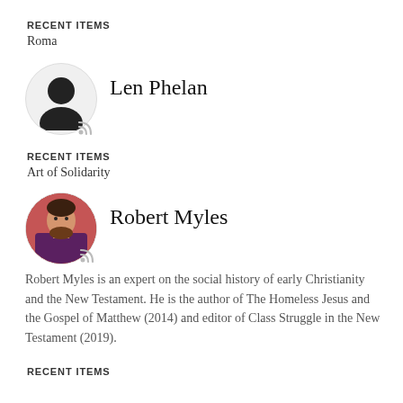RECENT ITEMS
Roma
[Figure (illustration): Silhouette avatar of Len Phelan with RSS icon]
Len Phelan
RECENT ITEMS
Art of Solidarity
[Figure (photo): Photo of Robert Myles, a man with beard wearing a dark shirt, with RSS icon]
Robert Myles
Robert Myles is an expert on the social history of early Christianity and the New Testament. He is the author of The Homeless Jesus and the Gospel of Matthew (2014) and editor of Class Struggle in the New Testament (2019).
RECENT ITEMS